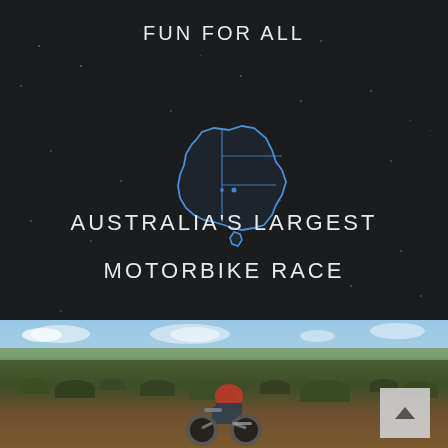FUN FOR ALL
[Figure (illustration): Blue outline map of Australia showing state borders, on dark background with scattered stars]
AUSTRALIA'S LARGEST MOTORBIKE RACE
[Figure (photo): Outdoor outback landscape photo showing desert scrubland with sparse vegetation, blue sky with clouds, and a motorbike rider visible at the bottom center. A scroll-to-top button appears in the bottom right corner.]